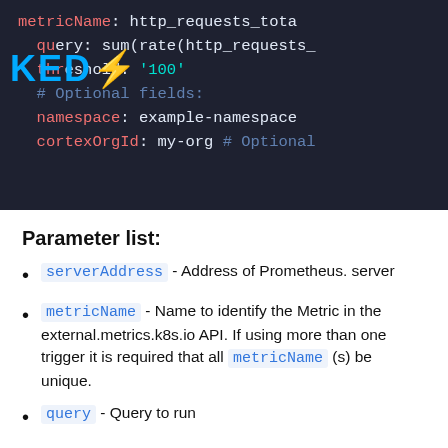[Figure (screenshot): Code block showing KEDA configuration YAML with metricName, query, threshold, namespace, and cortexOrgId fields on a dark background, with the KEDA logo overlaid]
Parameter list:
serverAddress - Address of Prometheus. server
metricName - Name to identify the Metric in the external.metrics.k8s.io API. If using more than one trigger it is required that all metricName (s) be unique.
query - Query to run